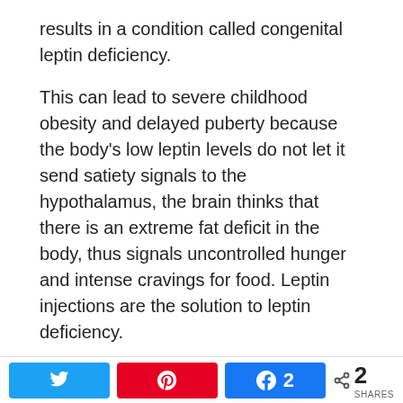results in a condition called congenital leptin deficiency.
This can lead to severe childhood obesity and delayed puberty because the body's low leptin levels do not let it send satiety signals to the hypothalamus, the brain thinks that there is an extreme fat deficit in the body, thus signals uncontrolled hunger and intense cravings for food. Leptin injections are the solution to leptin deficiency.
Foods That Increase Leptin Sensitivity
Certain foods can affect the leptin levels in the blood. They can help fight leptin resistance in